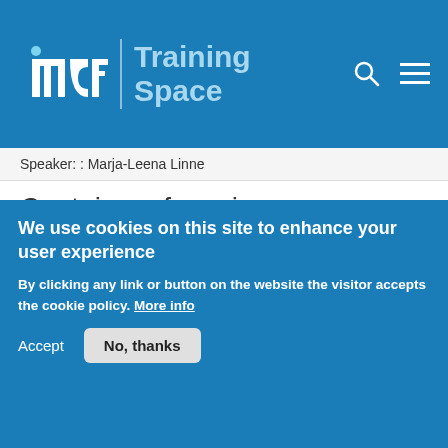incf | Training Space
Speaker: : Marja-Leena Linne
Containers for science
Course:
Versioning & Containerization
In this
[Figure (logo): Docker whale logo - blue cartoon whale carrying stacked container boxes]
[Figure (logo): Singularity logo - circular green and yellow arc with black letter S]
We use cookies on this site to enhance your user experience
By clicking any link or button on the website the visitor accepts the cookie policy. More info
Accept
No, thanks